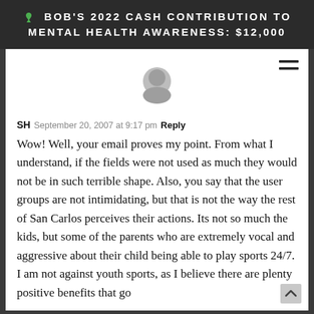BOB'S 2022 CASH CONTRIBUTION TO MENTAL HEALTH AWARENESS: $12,000
[Figure (illustration): Generic gray avatar/profile icon (circle head and shoulders silhouette)]
SH  September 20, 2007 at 9:17 pm  Reply
Wow! Well, your email proves my point. From what I understand, if the fields were not used as much they would not be in such terrible shape. Also, you say that the user groups are not intimidating, but that is not the way the rest of San Carlos perceives their actions. Its not so much the kids, but some of the parents who are extremely vocal and aggressive about their child being able to play sports 24/7. I am not against youth sports, as I believe there are plenty positive benefits that go